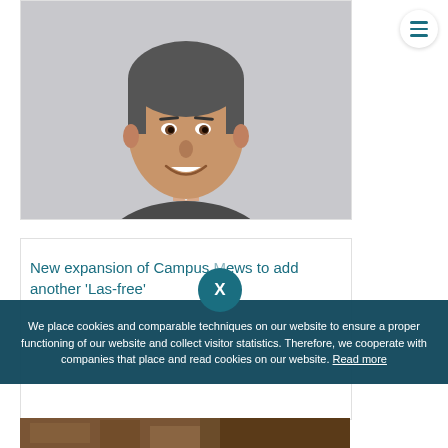[Figure (photo): Professional headshot of a middle-aged man with short grey-black hair wearing a dark suit jacket and white shirt, smiling, against a light grey background.]
New expansion of Campus [name] to add another 'Las-free'
[Figure (photo): Bottom strip showing a building exterior on campus, partially visible.]
We place cookies and comparable techniques on our website to ensure a proper functioning of our website and collect visitor statistics. Therefore, we cooperate with companies that place and read cookies on our website. Read more